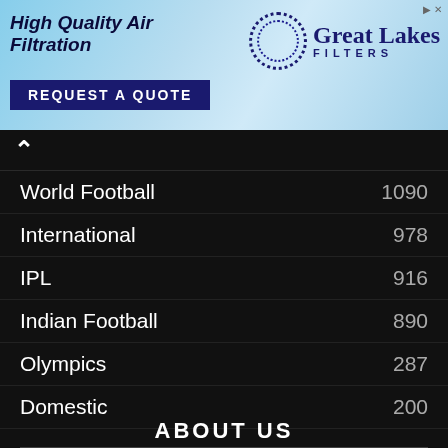[Figure (other): Advertisement banner for Great Lakes Filters - High Quality Air Filtration with blue sky background, logo with dotted circle, and 'REQUEST A QUOTE' button]
World Football  1090
International  978
IPL  916
Indian Football  890
Olympics  287
Domestic  200
ABOUT US